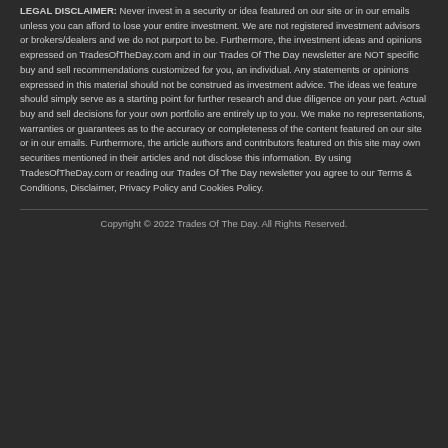LEGAL DISCLAIMER: Never invest in a security or idea featured on our site or in our emails unless you can afford to lose your entire investment. We are not registered investment advisors or brokers/dealers and we do not purport to be. Furthermore, the investment ideas and opinions expressed on TradesOfTheDay.com and in our Trades Of The Day newsletter are NOT specific buy and sell recommendations customized for you, an individual. Any statements or opinions expressed in this material should not be construed as investment advice. The ideas we feature should simply serve as a starting point for further research and due diligence on your part. Actual buy and sell decisions for your own portfolio are entirely up to you. We make no representations, warranties or guarantees as to the accuracy or completeness of the content featured on our site or in our emails. Furthermore, the article authors and contributors featured on this site may own securities mentioned in their articles and not disclose this information. By using TradesOfTheDay.com or reading our Trades Of The Day newsletter you agree to our Terms & Conditions, Disclaimer, Privacy Policy and Cookies Policy.
Copyright © 2022 Trades Of The Day. All Rights Reserved.